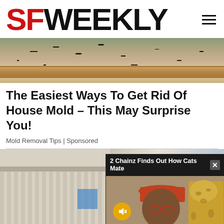SF WEEKLY
[Figure (photo): Close-up photo of house mold on a wall near baseboard/floor area, showing dark mold spots on wall with wooden baseboard]
The Easiest Ways To Get Rid Of House Mold - This May Surprise You!
Mold Removal Tips | Sponsored
[Figure (photo): Background photo of building exterior with fence/railing, overlaid with a video player showing '2 Chainz Finds Out How Cats Mate' featuring a man in a red cap with a cat, with a mute button overlay]